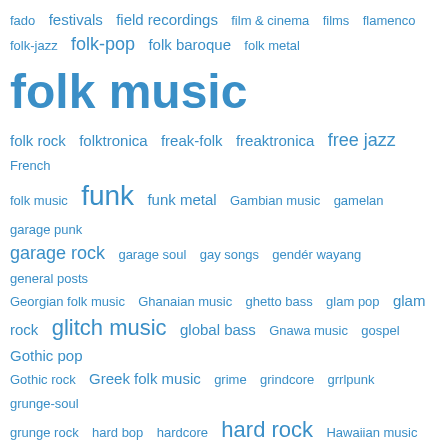[Figure (other): A tag cloud / word cloud of music genre terms in various font sizes in blue, representing frequency or importance. Terms include: fado, festivals, field recordings, film & cinema, films, flamenco, folk-jazz, folk-pop, folk baroque, folk metal, folk music (large), folk rock, folktronica, freak-folk, freaktronica, free jazz, French folk music, funk, funk metal, Gambian music, gamelan, garage punk, garage rock, garage soul, gay songs, gender wayang, general posts, Georgian folk music, Ghanaian music, ghetto bass, glam pop, glam rock, glitch music, global bass, Gnawa music, gospel, Gothic pop, Gothic rock, Greek folk music, grime, grindcore, grrlpunk, grunge-soul, grunge rock, hard bop, hardcore, hard rock, Hawaiian music, heavy metal, highlife, Hindi film music, hip hop (large), hot jazz/Gypsy, jazz/manouche jazz, house music, IDM, improvisation (large), Indian music, Indonesian folk music, industrial music, industrial rock, instrumental music (very large), interactive performances (medium-large), Inuit folk music, Iranian folk music, Irish folk music]